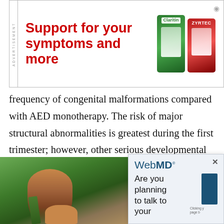[Figure (other): Advertisement banner: 'Support for your symptoms and more' in bold red text, with Claritin and Zyrtec product boxes on the right. ADVERTISEMENT label on left side.]
frequency of congenital malformations compared with AED monotherapy. The risk of major structural abnormalities is greatest during the first trimester; however, other serious developmental effects can occur with valproate use throughout pregnancy. The rate of congenital malformations
[Figure (photo): Photo of bare feet/legs of a person walking on a slackline, with green vegetation background.]
[Figure (other): WebMD popup advertisement with logo and text 'Are you planning to talk to your' with a blue button element. Close X button in top right.]